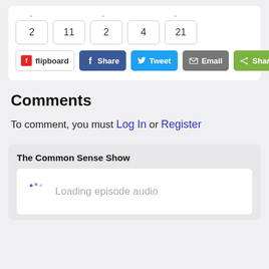[Figure (screenshot): Social share buttons row with counter boxes showing 2, 11, 2, 4, 21 and share buttons: Flipboard, Facebook Share, Twitter Tweet, Email, Share (green)]
Comments
To comment, you must Log In or Register
The Common Sense Show
Loading episode audio